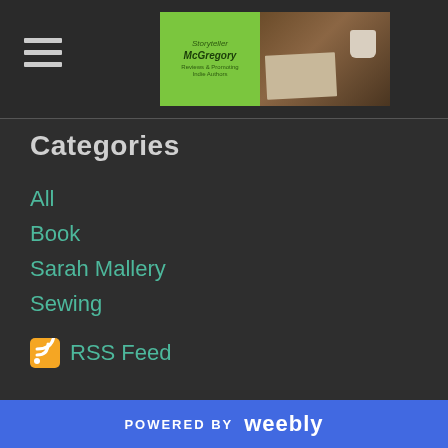Storyteller McGregory - Blog header with hamburger menu and logo
Categories
All
Book
Sarah Mallery
Sewing
RSS Feed
POWERED BY weebly